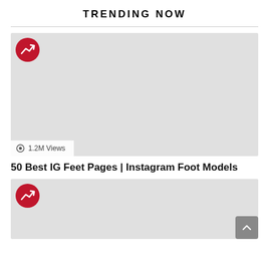TRENDING NOW
[Figure (illustration): Light gray placeholder image card with a red circle trending icon (arrow chart) in top-left corner, and a views badge showing an eye icon and '1.2M Views' at bottom-left]
1.2M Views
50 Best IG Feet Pages | Instagram Foot Models
[Figure (illustration): Light gray placeholder image card with a red circle trending icon (arrow chart) in top-left corner, partially visible at bottom of page]